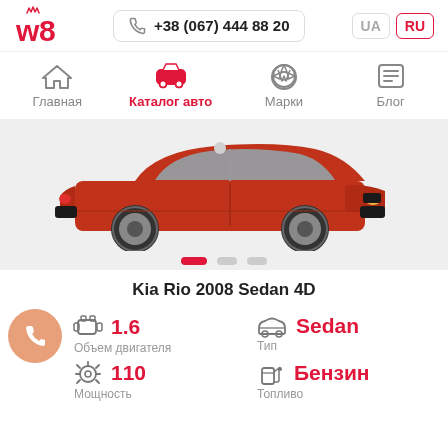w8 | +38 (067) 444 88 20 | UA | RU
Главная | Каталог авто | Марки | Блог
[Figure (photo): Red Kia Rio 2008 Sedan 4D car viewed from front-side angle on light grey background]
Kia Rio 2008 Sedan 4D
1.6
Объем двигателя
Sedan
Тип
110
Мощность
Бензин
Топливо